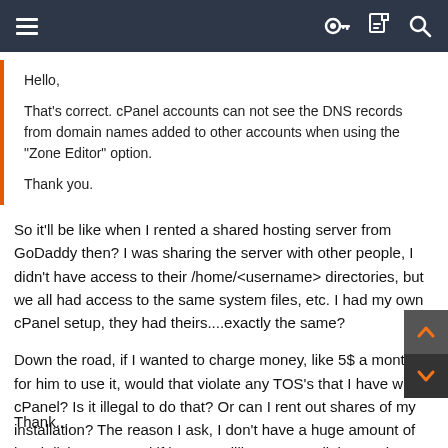Menu | Key | Document | Search
Hello,

That's correct. cPanel accounts can not see the DNS records from domain names added to other accounts when using the "Zone Editor" option.

Thank you.
So it'll be like when I rented a shared hosting server from GoDaddy then? I was sharing the server with other people, I didn't have access to their /home/<username> directories, but we all had access to the same system files, etc. I had my own cPanel setup, they had theirs....exactly the same?
Down the road, if I wanted to charge money, like 5$ a month, for him to use it, would that violate any TOS's that I have with cPanel? Is it illegal to do that? Or can I rent out shares of my installation? The reason I ask, I don't have a huge amount of hard disk space, and if he was willing to pay a little, maybe I could upgrade the VPS to the next tier...
Thank...